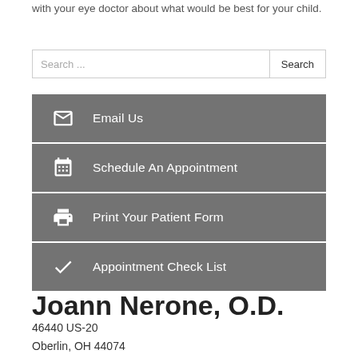with your eye doctor about what would be best for your child.
[Figure (screenshot): Search bar with placeholder text 'Search ...' and a Search button]
Email Us
Schedule An Appointment
Print Your Patient Form
Appointment Check List
Joann Nerone, O.D.
46440 US-20
Oberlin, OH 44074